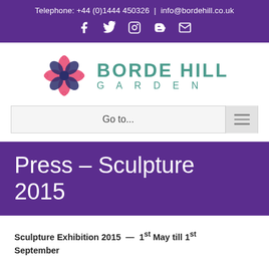Telephone: +44 (0)1444 450326 | info@bordehill.co.uk
[Figure (logo): Borde Hill Garden logo with decorative flower/cross emblem in pink and navy, and text BORDE HILL GARDEN in teal]
Go to...
Press – Sculpture 2015
Sculpture Exhibition 2015  —  1st May till 1st September